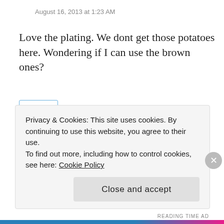August 16, 2013 at 1:23 AM
Love the plating. We dont get those potatoes here. Wondering if I can use the brown ones?
Reply
saurava mazumdar
August 17, 2013 at 1:22 PM
Privacy & Cookies: This site uses cookies. By continuing to use this website, you agree to their use.
To find out more, including how to control cookies, see here: Cookie Policy
Close and accept